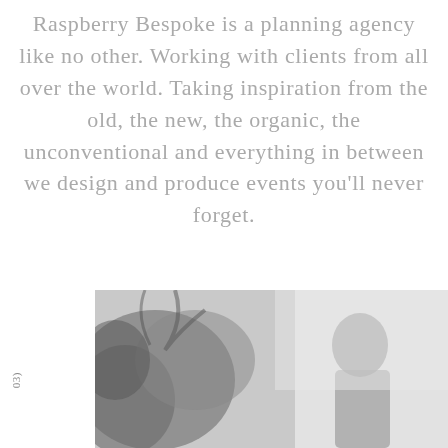Raspberry Bespoke is a planning agency like no other. Working with clients from all over the world. Taking inspiration from the old, the new, the organic, the unconventional and everything in between we design and produce events you'll never forget.
[Figure (photo): Black and white photograph showing people outdoors, partially visible at bottom of page]
03)